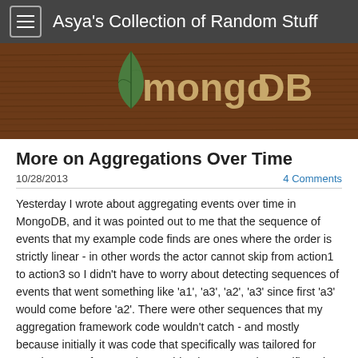Asya's Collection of Random Stuff
[Figure (logo): MongoDB logo with green leaf icon and stylized text on dark wood-grain background]
More on Aggregations Over Time
10/28/2013
4 Comments
Yesterday I wrote about aggregating events over time in MongoDB, and it was pointed out to me that the sequence of events that my example code finds are ones where the order is strictly linear - in other words the actor cannot skip from action1 to action3 so I didn't have to worry about detecting sequences of events that went something like 'a1', 'a3', 'a2', 'a3' since first 'a3' would come before 'a2'.  There were other sequences that my aggregation framework code wouldn't catch - and mostly because initially it was code that specifically was tailored for certain types of events that could only progress in specific order.